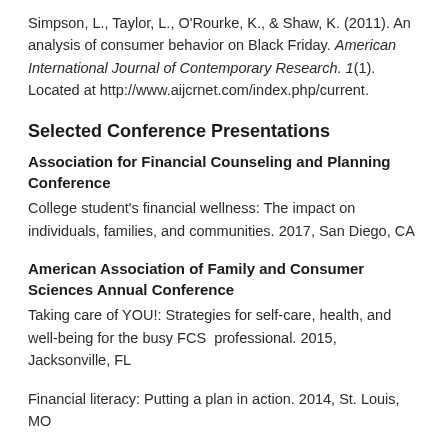Simpson, L., Taylor, L., O'Rourke, K., & Shaw, K. (2011). An analysis of consumer behavior on Black Friday. American International Journal of Contemporary Research. 1(1). Located at http://www.aijcrnet.com/index.php/current.
Selected Conference Presentations
Association for Financial Counseling and Planning Conference
College student's financial wellness: The impact on individuals, families, and communities. 2017, San Diego, CA
American Association of Family and Consumer Sciences Annual Conference
Taking care of YOU!: Strategies for self-care, health, and well-being for the busy FCS professional. 2015, Jacksonville, FL
Financial literacy: Putting a plan in action. 2014, St. Louis, MO